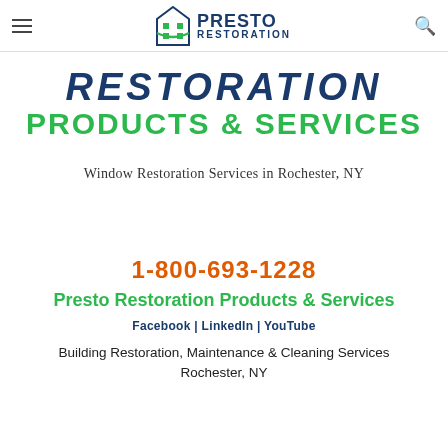Presto Restoration (navigation bar with hamburger menu, logo, and search icon)
[Figure (logo): Presto Restoration logo with building icon, 'PRESTO' in bold navy and 'RESTORATION' below in smaller navy letters]
RESTORATION PRODUCTS & SERVICES
Window Restoration Services in Rochester, NY
1-800-693-1228
Presto Restoration Products & Services
Facebook | LinkedIn | YouTube
Building Restoration, Maintenance & Cleaning Services Rochester, NY